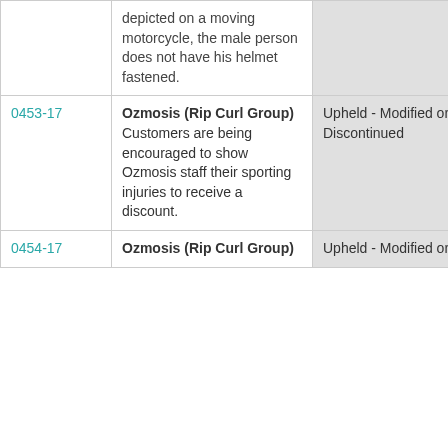| Case ID | Description | Outcome | Category |
| --- | --- | --- | --- |
|  | depicted on a moving motorcycle, the male person does not have his helmet fastened. |  |  |
| 0453-17 | Ozmosis (Rip Curl Group)
Customers are being encouraged to show Ozmosis staff their sporting injuries to receive a discount. | Upheld - Modified or Discontinued | Clothing |
| 0454-17 | Ozmosis (Rip Curl Group) | Upheld - Modified or | Clothing |